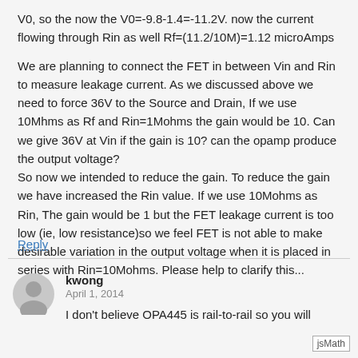V0, so the now the V0=-9.8-1.4=-11.2V. now the current flowing through Rin as well Rf=(11.2/10M)=1.12 microAmps
We are planning to connect the FET in between Vin and Rin to measure leakage current. As we discussed above we need to force 36V to the Source and Drain, If we use 10Mhms as Rf and Rin=1Mohms the gain would be 10. Can we give 36V at Vin if the gain is 10? can the opamp produce the output voltage?
So now we intended to reduce the gain. To reduce the gain we have increased the Rin value. If we use 10Mohms as Rin, The gain would be 1 but the FET leakage current is too low (ie, low resistance)so we feel FET is not able to make desirable variation in the output voltage when it is placed in series with Rin=10Mohms. Please help to clarify this...
Reply
kwong
April 1, 2014
I don't believe OPA445 is rail-to-rail so you will